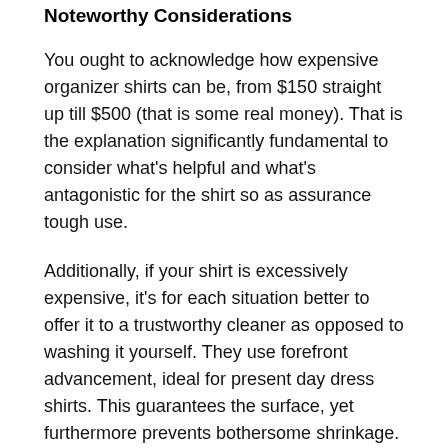Noteworthy Considerations
You ought to acknowledge how expensive organizer shirts can be, from $150 straight up till $500 (that is some real money). That is the explanation significantly fundamental to consider what's helpful and what's antagonistic for the shirt so as assurance tough use.
Additionally, if your shirt is excessively expensive, it's for each situation better to offer it to a trustworthy cleaner as opposed to washing it yourself. They use forefront advancement, ideal for present day dress shirts. This guarantees the surface, yet furthermore prevents bothersome shrinkage.
Another unprecedented tip is to buy shirts that are created utilizing preshrunk surface. This essentially suggests a